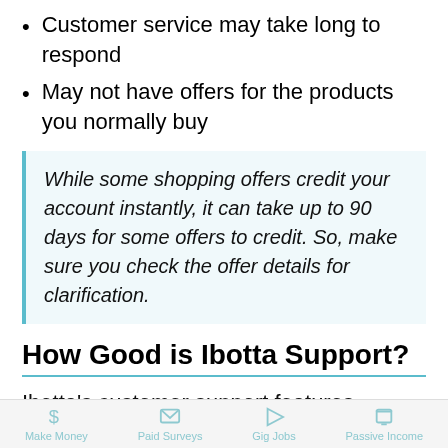Customer service may take long to respond
May not have offers for the products you normally buy
While some shopping offers credit your account instantly, it can take up to 90 days for some offers to credit. So, make sure you check the offer details for clarification.
How Good is Ibotta Support?
Ibotta’s customer support features individual teams that can help with specific questions, such as an online shopping team dedicated to
Make Money   Paid Surveys   Gig Jobs   Passive Income